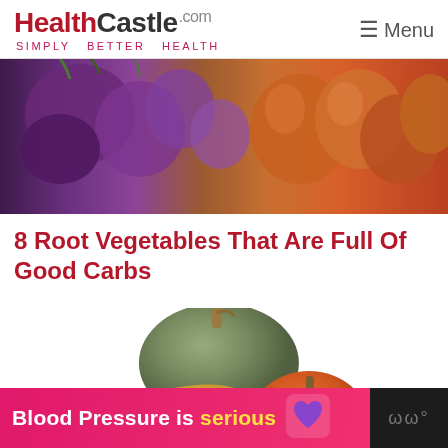HealthCastle.com Simply Better Health | Menu
[Figure (photo): Close-up photo of purple and orange root vegetables (beets/carrots) at a market]
8 Root Vegetables That Are Full Of Good Carbs
[Figure (photo): Assorted winter squash and gourds grouped together including acorn squash, butternut squash, pumpkin]
[Figure (infographic): Ad banner: Blood Pressure is serious with purple heart icon]